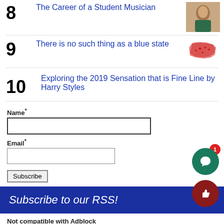8  The Career of a Student Musician
9  There is no such thing as a blue state
10  Exploring the 2019 Sensation that is Fine Line by Harry Styles
Name*
Email*
Subscribe
Subscribe to our RSS!
Not compatible with Adblock
The CavChron Line